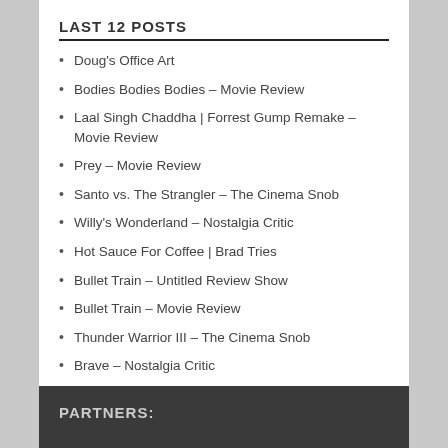LAST 12 POSTS
Doug's Office Art
Bodies Bodies Bodies – Movie Review
Laal Singh Chaddha | Forrest Gump Remake – Movie Review
Prey – Movie Review
Santo vs. The Strangler – The Cinema Snob
Willy's Wonderland – Nostalgia Critic
Hot Sauce For Coffee | Brad Tries
Bullet Train – Untitled Review Show
Bullet Train – Movie Review
Thunder Warrior III – The Cinema Snob
Brave – Nostalgia Critic
Ek Villain Returns – Movie Review
PARTNERS: